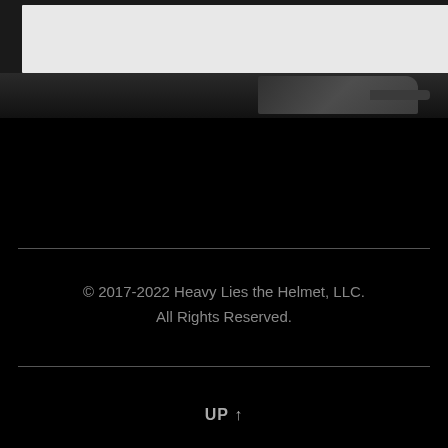[Figure (photo): Black and white photo showing partial view of an aircraft or vehicle, with a white rectangular overlay in the upper left area. The image is at the top of the page.]
© 2017-2022 Heavy Lies the Helmet, LLC.
All Rights Reserved.
UP ↑